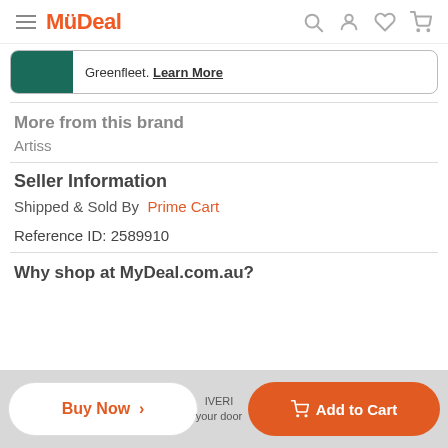MyDeal navigation bar with logo, search, account, wishlist, cart icons
[Figure (other): Greenfleet banner with green block and text 'Greenfleet. Learn More']
More from this brand
Artiss
Seller Information
Shipped & Sold By  Prime Cart
Reference ID: 2589910
Why shop at MyDeal.com.au?
Buy Now >   Add to Cart